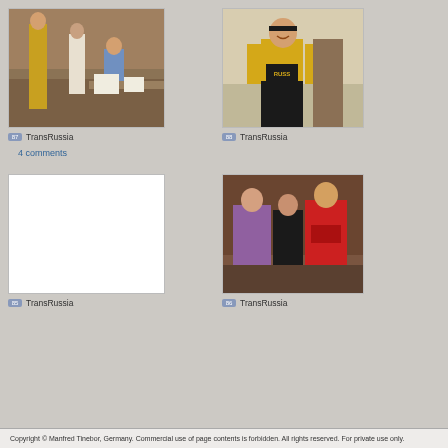[Figure (photo): Cyclists in yellow jerseys standing in an office with two people seated at a desk]
87 TransRussia
[Figure (photo): Smiling cyclist in yellow jersey standing indoors]
88 TransRussia
4 comments
[Figure (photo): Blank white image placeholder]
85 TransRussia
[Figure (photo): Three people posing together indoors, one wearing a red cycling jersey]
86 TransRussia
Copyright © Manfred Tinebor, Germany. Commercial use of page contents is forbidden. All rights reserved. For private use only.